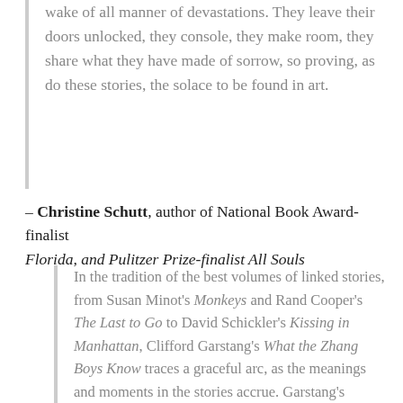wake of all manner of devastations. They leave their doors unlocked, they console, they make room, they share what they have made of sorrow, so proving, as do these stories, the solace to be found in art.
– Christine Schutt, author of National Book Award-finalist Florida, and Pulitzer Prize-finalist All Souls
In the tradition of the best volumes of linked stories, from Susan Minot's Monkeys and Rand Cooper's The Last to Go to David Schickler's Kissing in Manhattan, Clifford Garstang's What the Zhang Boys Know traces a graceful arc, as the meanings and moments in the stories accrue. Garstang's inventive and original writing, a beguiling invitation to myriad subplots and destinations, offers what every reader desires: a